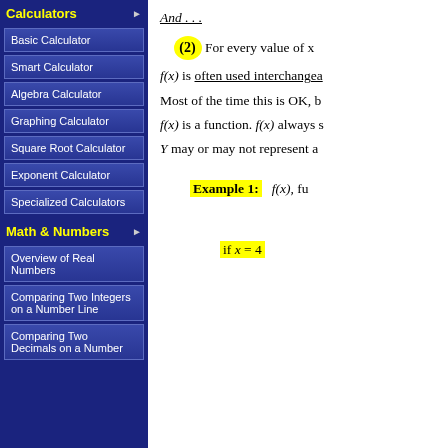And . . .
(2) For every value of x
f(x) is often used interchangea
Most of the time this is OK, b
f(x) is a function. f(x) always s
Y may or may not represent a
Example 1:  f(x), fu
if x = 4
Calculators
Basic Calculator
Smart Calculator
Algebra Calculator
Graphing Calculator
Square Root Calculator
Exponent Calculator
Specialized Calculators
Math & Numbers
Overview of Real Numbers
Comparing Two Integers on a Number Line
Comparing Two Decimals on a Number